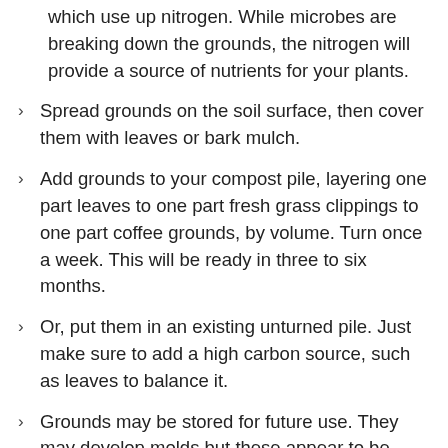which use up nitrogen. While microbes are breaking down the grounds, the nitrogen will provide a source of nutrients for your plants.
Spread grounds on the soil surface, then cover them with leaves or bark mulch.
Add grounds to your compost pile, layering one part leaves to one part fresh grass clippings to one part coffee grounds, by volume. Turn once a week. This will be ready in three to six months.
Or, put them in an existing unturned pile. Just make sure to add a high carbon source, such as leaves to balance it.
Grounds may be stored for future use. They may develop molds but these appear to be consumed during the composting process. Or a large plastic bag works for storage as well.